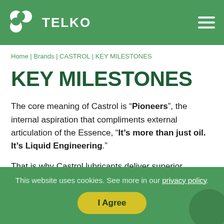TELKO
Home | Brands | CASTROL | KEY MILESTONES
KEY MILESTONES
The core meaning of Castrol is “Pioneers”, the internal aspiration that compliments external articulation of the Essence, “It’s more than just oil. It’s Liquid Engineering.”
That is why Castrol lubricants deliver superior performance. Here´s a quick timeline to show how Castrol has been driven to be the best.
This website uses cookies. See more in our privacy policy.